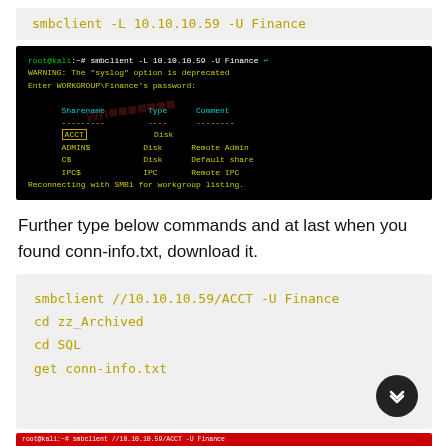smbclient -L 10.10.10.59 -U Finance
[Figure (screenshot): Terminal screenshot showing smbclient command output listing SMB shares: ACCT (Disk), ADMIN$ (Disk, Remote Admin), C$ (Disk, Default share), IPC$ (IPC, Remote IPC). ACCT is highlighted with a yellow border. A watermark is partially visible.]
Further type below commands and at last when you found conn-info.txt, download it.
smbclient //10.10.10.59/ACCT -U Finance
cd zz_Archived
cd SQL
get conn-info.txt
[Figure (screenshot): Bottom edge of another terminal screenshot, partially visible, red background.]